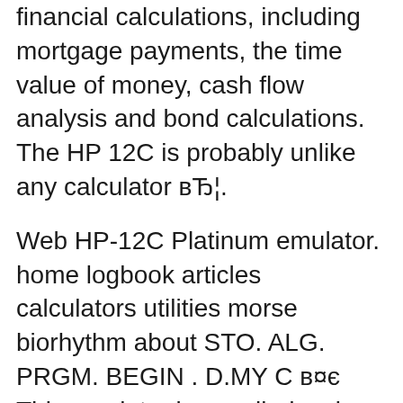financial calculations, including mortgage payments, the time value of money, cash flow analysis and bond calculations. The HP 12C is probably unlike any calculator вЂ¦.
Web HP-12C Platinum emulator. home logbook articles calculators utilities morse biorhythm about STO. ALG. PRGM. BEGIN . D.MY C в¤є This emulator is supplied as is. Use it at your own risk! Always double-check important calculations by other means. Emulators of Voyager RPN calculators. This emulator is also packaged for Android, iPhone and iPad. If you prefer a simpler financial calculator hp 12c platinum financial calculator user's